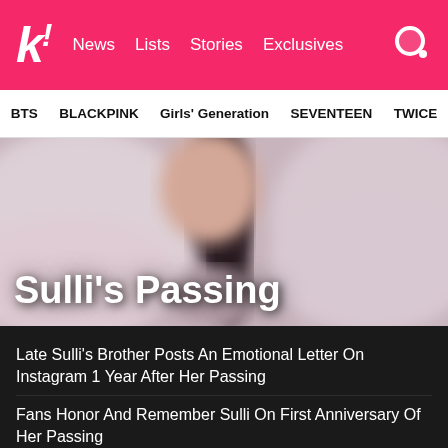k! News Lists Stories Exclusives
BTS BLACKPINK Girls' Generation SEVENTEEN TWICE
[Figure (photo): Blurred photo of a person with dark hair wearing a pink/mauve fuzzy jacket, serving as hero background image]
Sulli's Passing
Late Sulli's Brother Posts An Emotional Letter On Instagram 1 Year After Her Passing
Fans Honor And Remember Sulli On First Anniversary Of Her Passing
Sulli's Friend Blasts Her Mother For Using Sulli, Even After Her Passing
Here's A Look Into Late Sulli's Diary Entry From When She Was Dating Choiza